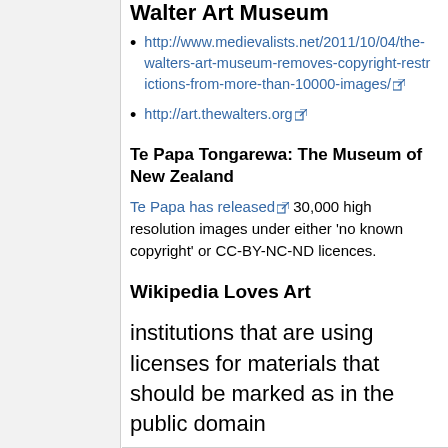Walter Art Museum
http://www.medievalists.net/2011/10/04/the-walters-art-museum-removes-copyright-restrictions-from-more-than-10000-images/
http://art.thewalters.org
Te Papa Tongarewa: The Museum of New Zealand
Te Papa has released 30,000 high resolution images under either 'no known copyright' or CC-BY-NC-ND licences.
Wikipedia Loves Art
institutions that are using licenses for materials that should be marked as in the public domain